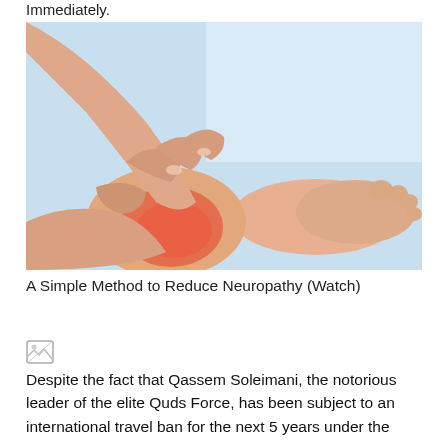Immediately.
[Figure (photo): Hands massaging a foot/ankle with a red highlighted area indicating pain or inflammation, against a light blue background.]
A Simple Method to Reduce Neuropathy (Watch)
[Figure (photo): Broken/missing image placeholder (small icon)]
Despite the fact that Qassem Soleimani, the notorious leader of the elite Quds Force, has been subject to an international travel ban for the next 5 years under the